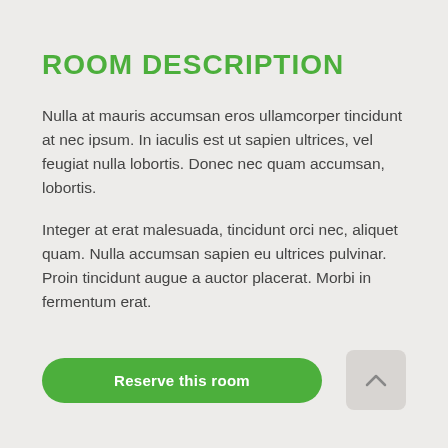ROOM DESCRIPTION
Nulla at mauris accumsan eros ullamcorper tincidunt at nec ipsum. In iaculis est ut sapien ultrices, vel feugiat nulla lobortis. Donec nec quam accumsan, lobortis.
Integer at erat malesuada, tincidunt orci nec, aliquet quam. Nulla accumsan sapien eu ultrices pulvinar. Proin tincidunt augue a auctor placerat. Morbi in fermentum erat.
Reserve this room